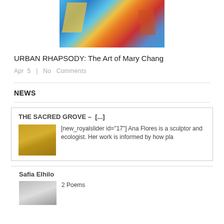[Figure (photo): Colorful abstract painting with blues, yellows, reds — urban art]
URBAN RHAPSODY: The Art of Mary Chang
Apr  5  |  No  Comments
NEWS
THE SACRED GROVE –  [...]
[Figure (photo): Thumbnail of golden fabric or sculpture]
[new_royalslider id="17"] Ana Flores is a sculptor and ecologist. Her work is informed by how pla
Safia Elhilo
[Figure (photo): Thumbnail portrait photo]
2 Poems